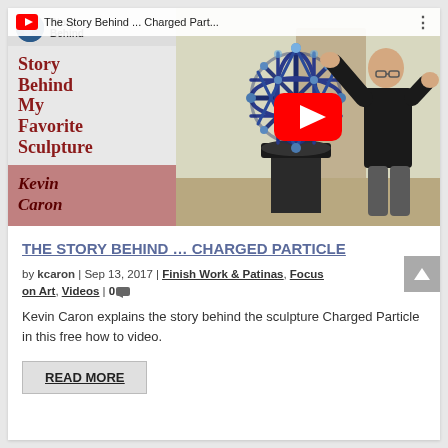[Figure (screenshot): YouTube video thumbnail showing Kevin Caron's video 'The Story Behind ... Charged Part...' with a blue geodesic sculpture and man gesturing]
THE STORY BEHIND … CHARGED PARTICLE
by kcaron | Sep 13, 2017 | Finish Work & Patinas, Focus on Art, Videos | 0
Kevin Caron explains the story behind the sculpture Charged Particle in this free how to video.
READ MORE